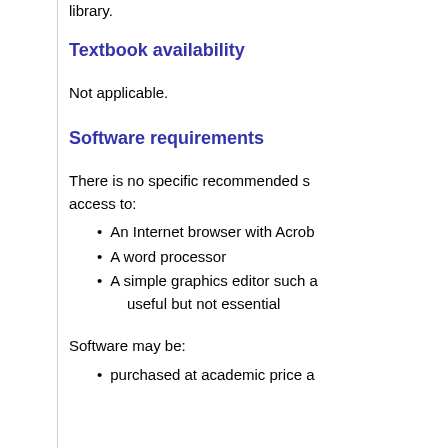library.
Textbook availability
Not applicable.
Software requirements
There is no specific recommended s... access to:
An Internet browser with Acrob...
A word processor
A simple graphics editor such a... useful but not essential
Software may be:
purchased at academic price a...